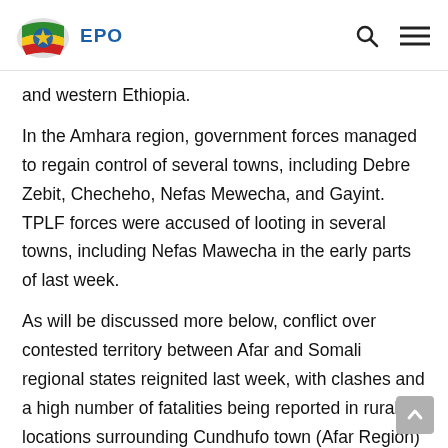EPO
and western Ethiopia.
In the Amhara region, government forces managed to regain control of several towns, including Debre Zebit, Checheho, Nefas Mewecha, and Gayint. TPLF forces were accused of looting in several towns, including Nefas Mawecha in the early parts of last week.
As will be discussed more below, conflict over contested territory between Afar and Somali regional states reignited last week, with clashes and a high number of fatalities being reported in rural locations surrounding Cundhufo town (Afar Region) and Garba Ciise town (Somali region) (VOA, 28 August 2021).